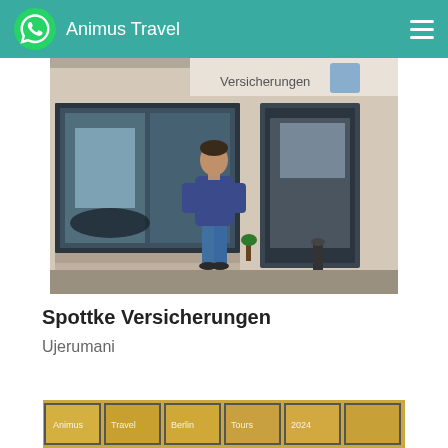Animus Travel
[Figure (photo): A man in a blue long-sleeve shirt and jeans standing in front of the Spottke Versicherungen insurance office building on a city street. The building has large glass windows and a sign reading 'Versicherungen'.]
Spottke Versicherungen
Ujerumani
[Figure (photo): Partial view of a building facade with yellow-tinted windows showing chalked or painted text/signs, partially visible at the bottom of the page.]